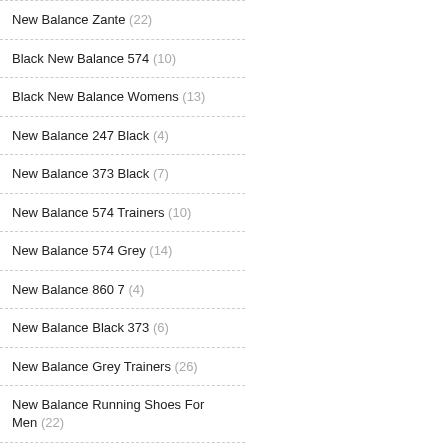New Balance Zante (22)
Black New Balance 574 (10)
Black New Balance Womens (13)
New Balance 247 Black (4)
New Balance 373 Black (7)
New Balance 574 Trainers (10)
New Balance 574 Grey (14)
New Balance 860 7 (4)
New Balance Black 373 (6)
New Balance Grey Trainers (26)
New Balance Running Shoes For Men (22)
New Balance Running Shoes Mens (6)
New Balance Trainers 574 (19)
New Balance Nike (11)
New Balance 880 (9)